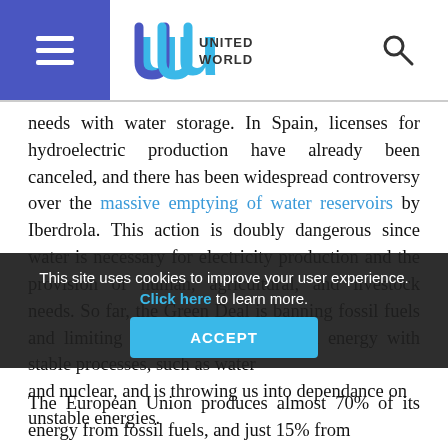United World — header with hamburger menu and search icon
needs with water storage. In Spain, licenses for hydroelectric production have already been canceled, and there has been widespread controversy over the massive emptying of water reservoirs by Iberdrola. This action is doubly dangerous since water is necessary for electricity production and the provision of human, agricultural, and livestock needs. So far, the Green Deal is banning fossil fuels and limiting the production of green energy with stable processes, such as water and nuclear, and is throwing us into dependance on unstable energies.
This site uses cookies to improve your user experience. Click here to learn more. ACCEPT
The European Union produces almost 70% of its energy from fossil fuels, and just 15% from